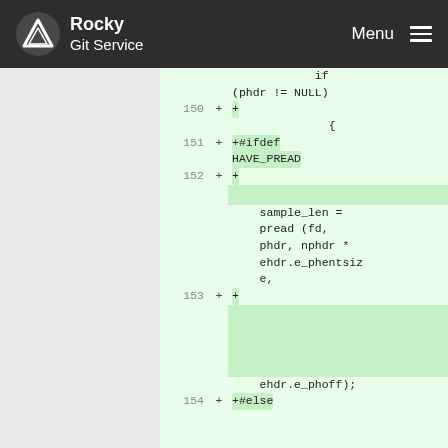Rocky Git Service  Menu
[Figure (screenshot): Git diff view showing code changes with line numbers 150-154. Added lines marked with + sign showing C code: if (phdr != NULL) { +#ifdef HAVE_PREAD, sample_len = pread (fd, phdr, nphdr * ehdr.e_phentsize, ehdr.e_phoff); +#else]